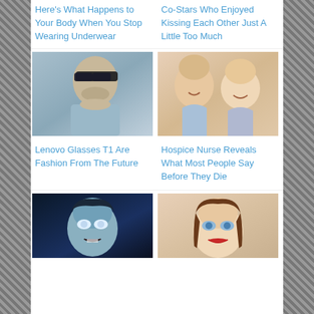Here's What Happens to Your Body When You Stop Wearing Underwear
Co-Stars Who Enjoyed Kissing Each Other Just A Little Too Much
[Figure (photo): Man wearing square sunglasses, side profile, blue/grey tones]
[Figure (photo): Two women smiling and laughing, selfie style]
Lenovo Glasses T1 Are Fashion From The Future
Hospice Nurse Reveals What Most People Say Before They Die
[Figure (photo): Woman with dark hair and white eyes, gothic/horror style blue tint]
[Figure (photo): Woman with brown hair and blue eyes, red lipstick]